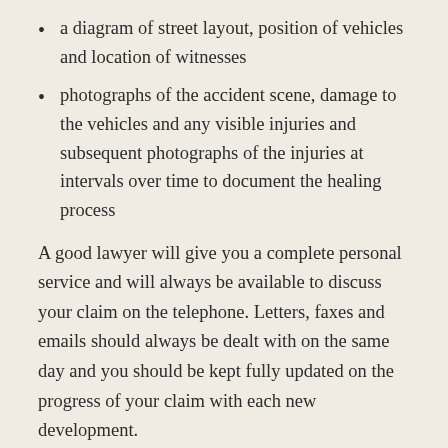a diagram of street layout, position of vehicles and location of witnesses
photographs of the accident scene, damage to the vehicles and any visible injuries and subsequent photographs of the injuries at intervals over time to document the healing process
A good lawyer will give you a complete personal service and will always be available to discuss your claim on the telephone. Letters, faxes and emails should always be dealt with on the same day and you should be kept fully updated on the progress of your claim with each new development.
Total Permanent Disability Claim – TPD Compensation Solicitors in Australia